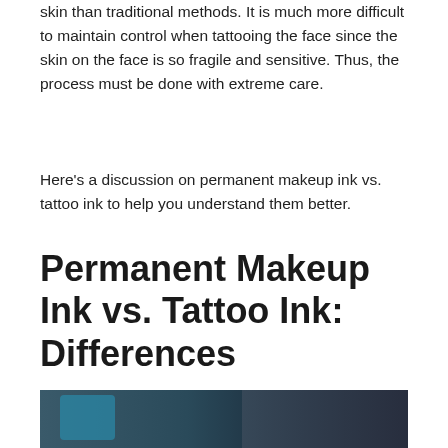skin than traditional methods. It is much more difficult to maintain control when tattooing the face since the skin on the face is so fragile and sensitive. Thus, the process must be done with extreme care.
Here's a discussion on permanent makeup ink vs. tattoo ink to help you understand them better.
Permanent Makeup Ink vs. Tattoo Ink: Differences
[Figure (photo): A tattooist in a dark beanie hat working in a tattoo studio, with blue/teal decor and equipment visible in the background, a sign on the wall]